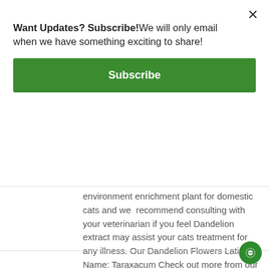Want Updates? Subscribe! We will only email when we have something exciting to share!
Subscribe
Dandelion Flower has been used as an environment enrichment plant for domestic cats and we recommend consulting with your veterinarian if you feel Dandelion extract may assist your cats treatment for any illness. Our Dandelion Flowers Latin Name: Taraxacum Check out more from our Flower Power Range here...
Add to basket   Details